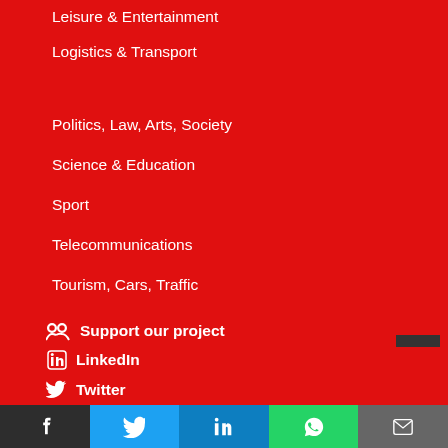Leisure & Entertainment
Logistics & Transport
Politics, Law, Arts, Society
Science & Education
Sport
Telecommunications
Tourism, Cars, Traffic
Support our project
Signup to our newsletter
Facebook
LinkedIn
Twitter
Facebook | Twitter | LinkedIn | WhatsApp | Email